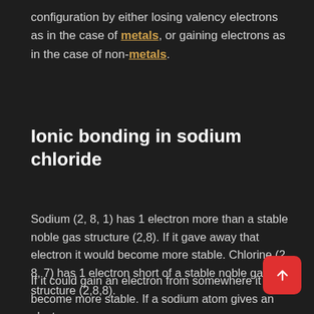configuration by either losing valency electrons as in the case of metals, or gaining electrons as in the case of non-metals.
Ionic bonding in sodium chloride
Sodium (2, 8, 1) has 1 electron more than a stable noble gas structure (2,8). If it gave away that electron it would become more stable. Chlorine (2, 8, 7) has 1 electron short of a stable noble gas structure (2,8,8).
If it could gain an electron from somewhere it too become more stable. If a sodium atom gives an electron